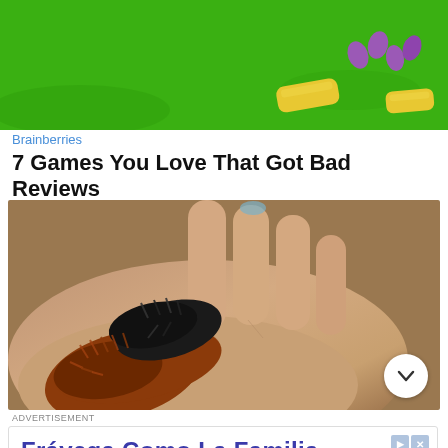[Figure (screenshot): Top portion of a video game screenshot showing a bright green grassy background with a purple creature and yellow items]
Brainberries
7 Games You Love That Got Bad Reviews
[Figure (photo): Close-up photo of a woolly bear caterpillar (brown and black fuzzy) resting on a person's hand]
ADVERTISEMENT
[Figure (screenshot): Advertisement for Frávega Como La Familia with headline, body text, brand name, and Abrir button]